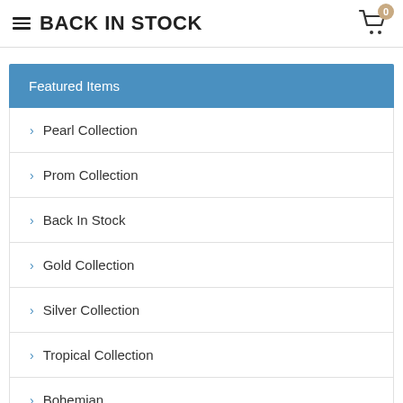BACK IN STOCK
Featured Items
> Pearl Collection
> Prom Collection
> Back In Stock
> Gold Collection
> Silver Collection
> Tropical Collection
> Bohemian